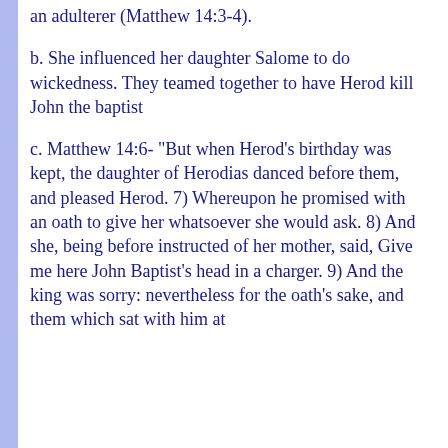an adulterer (Matthew 14:3-4).
b. She influenced her daughter Salome to do wickedness. They teamed together to have Herod kill John the baptist
c. Matthew 14:6- "But when Herod's birthday was kept, the daughter of Herodias danced before them, and pleased Herod. 7) Whereupon he promised with an oath to give her whatsoever she would ask. 8) And she, being before instructed of her mother, said, Give me here John Baptist's head in a charger. 9) And the king was sorry: nevertheless for the oath's sake, and them which sat with him at meat, he